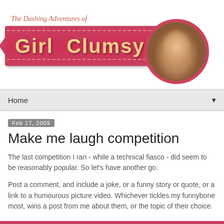The Dashing Adventures of Girl Clumsy
[Figure (illustration): Blog header banner with red ribbon reading 'Girl Clumsy' in bold yellow text, with script text 'The Dashing Adventures of' above, and a circular photo of a young woman with dark hair on the right side]
Home ▼
Feb 17, 2009
Make me laugh competition
The last competition I ran - while a technical fiasco - did seem to be reasonably popular. So let's have another go.
Post a comment, and include a joke, or a funny story or quote, or a link to a humourous picture video. Whichever tickles my funnybone most, wins a post from me about them, or the topic of their choice.